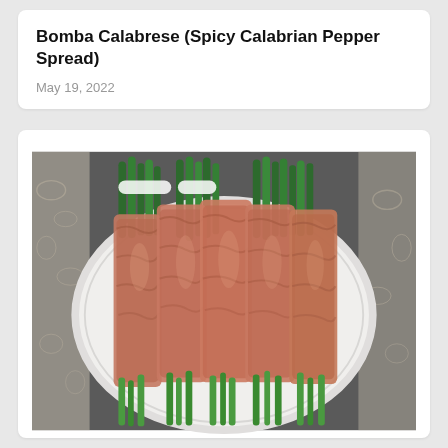Bomba Calabrese (Spicy Calabrian Pepper Spread)
May 19, 2022
[Figure (photo): A white oval serving platter with prosciutto-wrapped asparagus bundles arranged on it, displayed on a gray lace tablecloth. The asparagus tips are green and the prosciutto wrapping is pinkish-brown.]